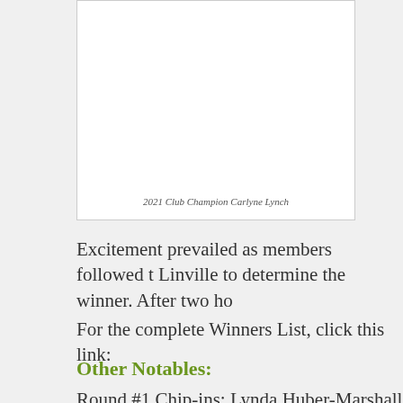[Figure (photo): Photo of 2021 Club Champion Carlyne Lynch]
2021 Club Champion Carlyne Lynch
Excitement prevailed as members followed t Linville to determine the winner. After two ho
For the complete Winners List, click this link:
Other Notables:
Round #1 Chip-ins:  Lynda Huber-Marshall –
Round #2 Chip-ins: Sharon Kadell – Red #4